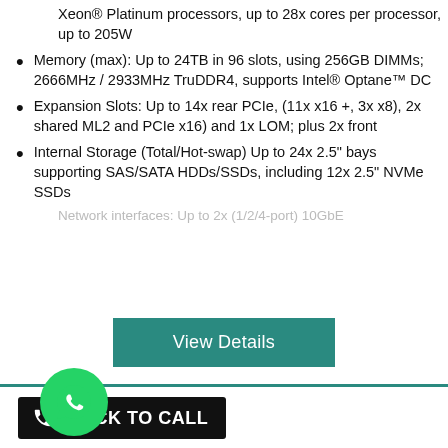Xeon® Platinum processors, up to 28x cores per processor, up to 205W
Memory (max): Up to 24TB in 96 slots, using 256GB DIMMs; 2666MHz / 2933MHz TruDDR4, supports Intel® Optane™ DC
Expansion Slots: Up to 14x rear PCIe, (11x x16 +, 3x x8), 2x shared ML2 and PCIe x16) and 1x LOM; plus 2x front
Internal Storage (Total/Hot-swap) Up to 24x 2.5" bays supporting SAS/SATA HDDs/SSDs, including 12x 2.5" NVMe SSDs
Network interfaces: Up to 2x (1/2/4-port) 10GbE...
[Figure (other): Teal 'View Details' button]
[Figure (logo): WhatsApp green circle icon with phone handset]
[Figure (other): Black 'CLICK TO CALL' button with phone icon]